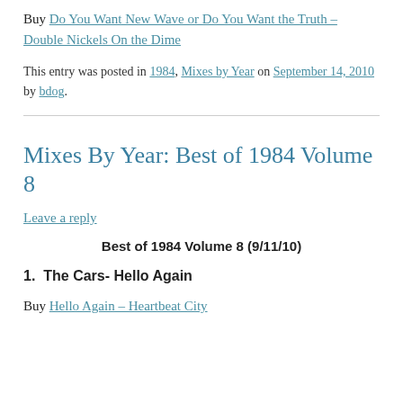Buy Do You Want New Wave or Do You Want the Truth – Double Nickels On the Dime
This entry was posted in 1984, Mixes by Year on September 14, 2010 by bdog.
Mixes By Year: Best of 1984 Volume 8
Leave a reply
Best of 1984 Volume 8 (9/11/10)
1.  The Cars- Hello Again
Buy Hello Again – Heartbeat City